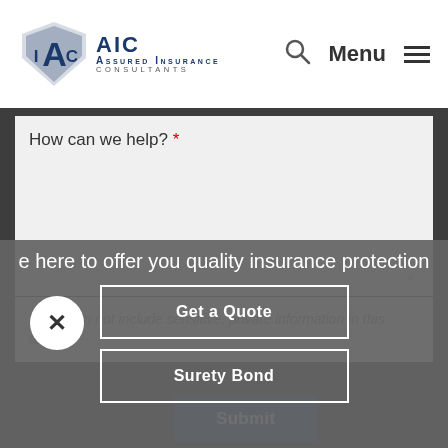[Figure (logo): AIC Assured Insurance Consultants logo with shield/A graphic and navigation icons (search, Menu, hamburger)]
How can we help? *
Please do not include sensitive, private information in this area.
Submit
e here to offer you quality insurance protection
Get a Quote
Surety Bond